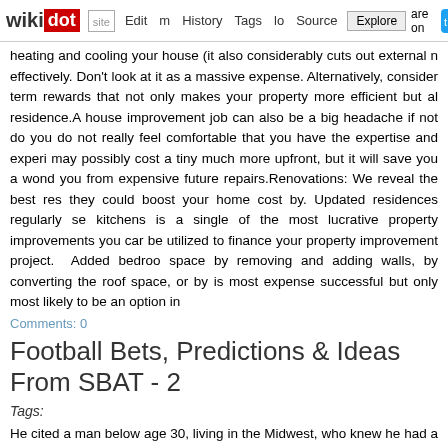wikidot | site | Edit | History | Tags | Source | Explore | Share on [Twitter]
heating and cooling your house (it also considerably cuts out external n effectively. Don't look at it as a massive expense. Alternatively, consider term rewards that not only makes your property more efficient but al residence.A house improvement job can also be a big headache if not do you do not really feel comfortable that you have the expertise and experi may possibly cost a tiny much more upfront, but it will save you a wond you from expensive future repairs.Renovations: We reveal the best res they could boost your home cost by. Updated residences regularly se kitchens is a single of the most lucrative property improvements you car be utilized to finance your property improvement project. Added bedroo space by removing and adding walls, by converting the roof space, or by is most expense successful but only most likely to be an option in
Comments: 0
Football Bets, Predictions & Ideas From SBAT - 2
Tags:
He cited a man below age 30, living in the Midwest, who knew he had a g every day fantasy sports. He lost $70,000 in 3 months. If you adored thi next site like to get more info regarding mouse click the next site please v fantasy sports play, the a lot more likely you are to gamble, gamble on s Teams like Manchester United or Chelsea occasionally have an off-game for long term betting, E.g. the Premiership title. A very good instance o 2008. The pre-season odds predicted that Manchester United had been so, they had a poor start to the season. Chelsea, on the contrary had a ro been tipping them to go on and win the title. Due to this, United's odds to went down. Right after the first handful of weeks of the season United's k